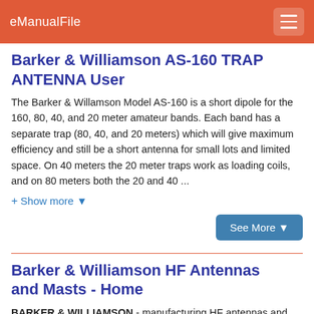eManualFile
Barker & Williamson AS-160 TRAP ANTENNA User
The Barker & Willamson Model AS-160 is a short dipole for the 160, 80, 40, and 20 meter amateur bands. Each band has a separate trap (80, 40, and 20 meters) which will give maximum efficiency and still be a short antenna for small lots and limited space. On 40 meters the 20 meter traps work as loading coils, and on 80 meters both the 20 and 40 ...
+ Show more ▾
See More ▾
Barker & Williamson HF Antennas and Masts - Home
BARKER & WILLIAMSON - manufacturing HF antennas and masts for military, government, EOC, and commercial use. These